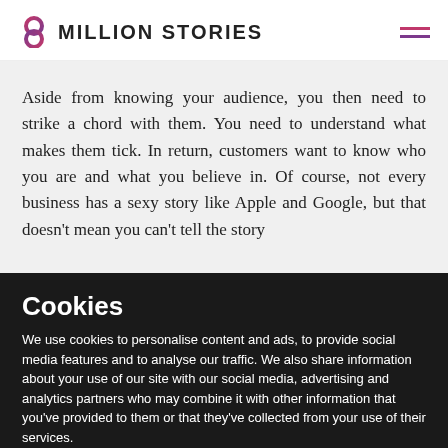8 MILLION STORIES
Aside from knowing your audience, you then need to strike a chord with them. You need to understand what makes them tick. In return, customers want to know who you are and what you believe in. Of course, not every business has a sexy story like Apple and Google, but that doesn't mean you can't tell the story
Cookies
We use cookies to personalise content and ads, to provide social media features and to analyse our traffic. We also share information about your use of our site with our social media, advertising and analytics partners who may combine it with other information that you've provided to them or that they've collected from your use of their services.
Deny | Allow selection | Allow all
Necessary  Preferences  Statistics  Marketing  Show details